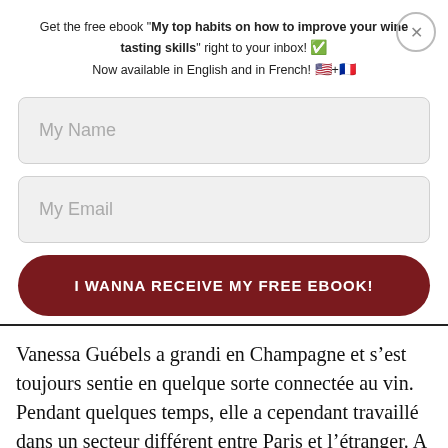Get the free ebook "My top habits on how to improve your wine tasting skills" right to your inbox! ✅
Now available in English and in French! 🇺🇸+🇫🇷
[Figure (other): Close button (X) circle in top right]
My Name
My Email
I WANNA RECEIVE MY FREE EBOOK!
Vanessa Guébels a grandi en Champagne et s'est toujours sentie en quelque sorte connectée au vin. Pendant quelques temps, elle a cependant travaillé dans un secteur différent entre Paris et l'étranger. A la fin de l'année 2016, Vanessa rentre en France, après plusieurs années passées